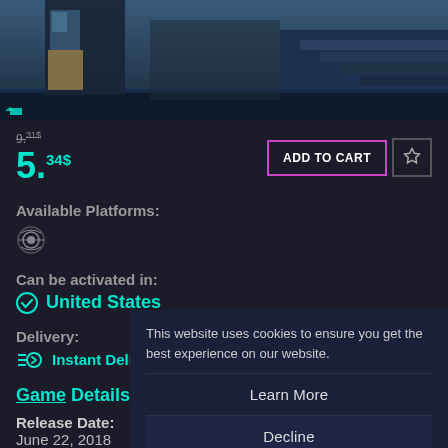[Figure (screenshot): Game hero image showing characters in a dark cinematic scene]
9.31$
5.34$
ADD TO CART
Available Platforms:
[Figure (logo): Steam platform logo icon]
Can be activated in:
United States
Delivery:
Instant Delivery
Game Details
Release Date:
June 22, 2018
Product type:
This website uses cookies to ensure you get the best experience on our website.
Learn More
Decline
Allow All